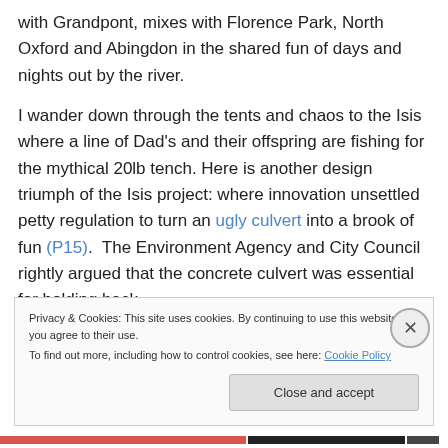with Grandpont, mixes with Florence Park, North Oxford and Abingdon in the shared fun of days and nights out by the river.
I wander down through the tents and chaos to the Isis where a line of Dad's and their offspring are fishing for the mythical 20lb tench. Here is another design triumph of the Isis project: where innovation unsettled petty regulation to turn an ugly culvert into a brook of fun (P15).  The Environment Agency and City Council rightly argued that the concrete culvert was essential for holding back
Privacy & Cookies: This site uses cookies. By continuing to use this website, you agree to their use.
To find out more, including how to control cookies, see here: Cookie Policy